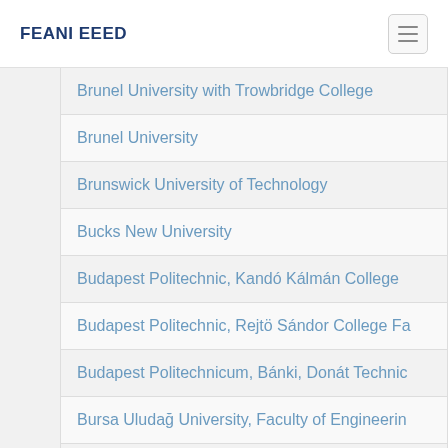FEANI EEED
Brunel University with Trowbridge College
Brunel University
Brunswick University of Technology
Bucks New University
Budapest Politechnic, Kandó Kálmán College
Budapest Politechnic, Rejtö Sándor College Fa
Budapest Politechnicum, Bánki, Donát Technic
Bursa Uludağ University, Faculty of Engineerin
Burton on Trent College
Buskerud College, Engineering Programme